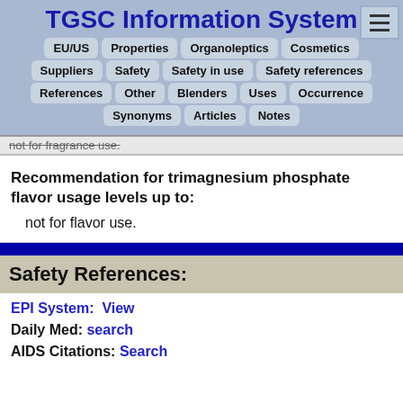TGSC Information System
EU/US | Properties | Organoleptics | Cosmetics | Suppliers | Safety | Safety in use | Safety references | References | Other | Blenders | Uses | Occurrence | Synonyms | Articles | Notes
not for fragrance use.
Recommendation for trimagnesium phosphate flavor usage levels up to:
not for flavor use.
Safety References:
EPI System:  View
Daily Med: search
AIDS Citations: Search